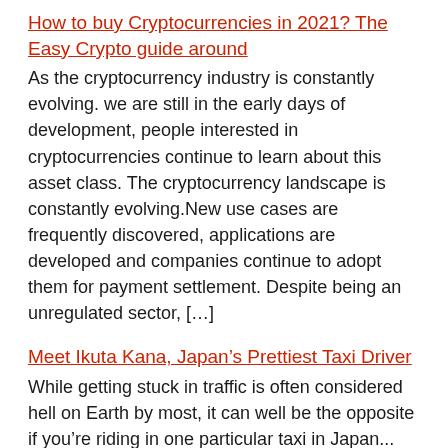How to buy Cryptocurrencies in 2021? The Easy Crypto guide around
As the cryptocurrency industry is constantly evolving. we are still in the early days of development, people interested in cryptocurrencies continue to learn about this asset class. The cryptocurrency landscape is constantly evolving.New use cases are frequently discovered, applications are developed and companies continue to adopt them for payment settlement. Despite being an unregulated sector, [...]
Meet Ikuta Kana, Japan's Prettiest Taxi Driver
While getting stuck in traffic is often considered hell on Earth by most, it can well be the opposite if you're riding in one particular taxi in Japan...